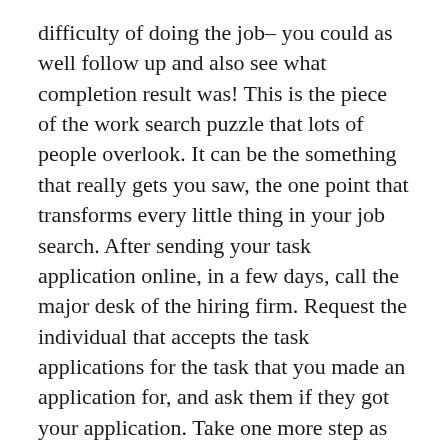difficulty of doing the job– you could as well follow up and also see what completion result was! This is the piece of the work search puzzle that lots of people overlook. It can be the something that really gets you saw, the one point that transforms every little thing in your job search. After sending your task application online, in a few days, call the major desk of the hiring firm. Request the individual that accepts the task applications for the task that you made an application for, and ask them if they got your application. Take one more step as well as tell them that the work application engines have not always respected your resume, ask if you can send out a resume by e-mail straight to this person that is in charge of obtaining the job applications, and also make sure to obtain one to him or her right away. You are getting to know somebody that is involved in the working with process at this company, as well as you are getting your name and maybe your resume in front of that person. You will certainly have